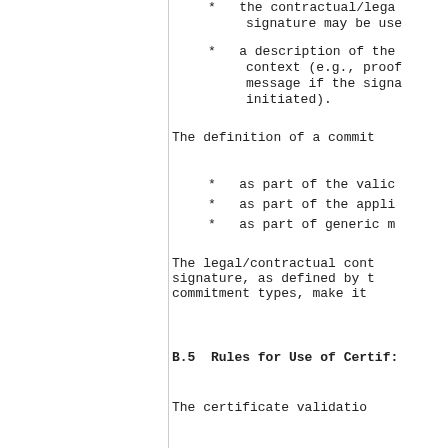* the contractual/lega signature may be use
* a description of the context (e.g., proof message if the signa initiated).
The definition of a commit
* as part of the valic
* as part of the appli
* as part of generic m
The legal/contractual cont signature, as defined by t commitment types, make it
B.5  Rules for Use of Certif:
The certificate validatio